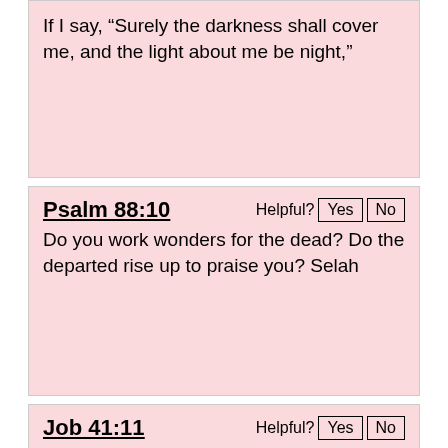If I say, “Surely the darkness shall cover me, and the light about me be night,”
Psalm 88:10
Do you work wonders for the dead? Do the departed rise up to praise you? Selah
Job 41:11
Who has first given to me, that I should